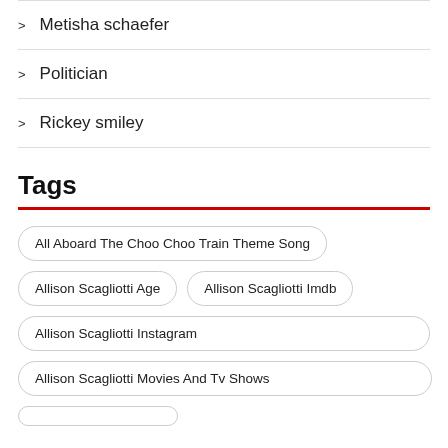Metisha schaefer
Politician
Rickey smiley
Tags
All Aboard The Choo Choo Train Theme Song
Allison Scagliotti Age
Allison Scagliotti Imdb
Allison Scagliotti Instagram
Allison Scagliotti Movies And Tv Shows